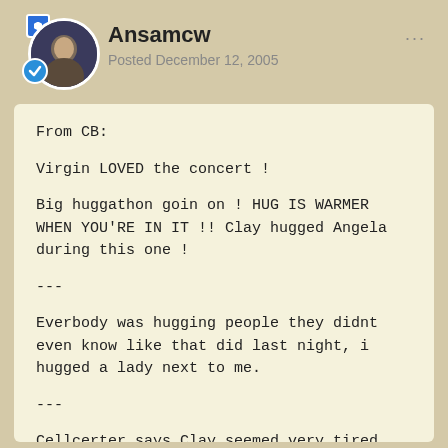Ansamcw
Posted December 12, 2005
From CB:

Virgin LOVED the concert !

Big huggathon goin on ! HUG IS WARMER WHEN YOU'RE IN IT !! Clay hugged Angela during this one !

---

Everbody was hugging people they didnt even know like that did last night, i hugged a lady next to me.

---

Cellcerter says Clay seemed very tired and quiet, she says alot of men are there. Clay said he didnt think he would make the glory note tonight but he did

---

Clay is thanking each one of us for being that special